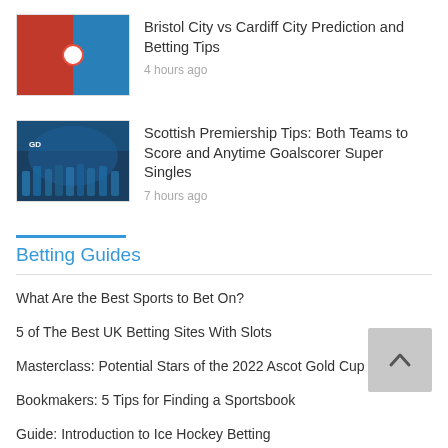Bristol City vs Cardiff City Prediction and Betting Tips
4 hours ago
Scottish Premiership Tips: Both Teams to Score and Anytime Goalscorer Super Singles
7 hours ago
Betting Guides
What Are the Best Sports to Bet On?
5 of The Best UK Betting Sites With Slots
Masterclass: Potential Stars of the 2022 Ascot Gold Cup
Bookmakers: 5 Tips for Finding a Sportsbook
Guide: Introduction to Ice Hockey Betting